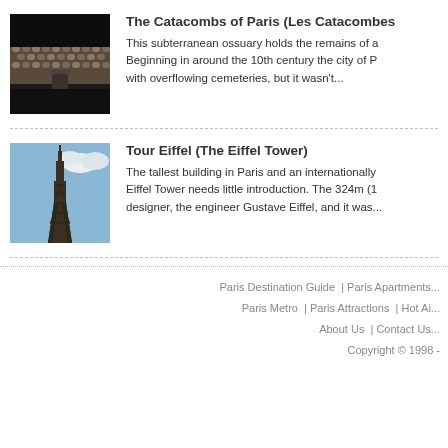[Figure (photo): Photo of the Paris Catacombs interior showing walls lined with skulls and bones, with a pillar in the center]
The Catacombs of Paris (Les Catacombes...
This subterranean ossuary holds the remains of a... Beginning in around the 10th century the city of P... with overflowing cemeteries, but it wasn't...
[Figure (photo): Photo of the Eiffel Tower taken from below against a blue sky with clouds]
Tour Eiffel (The Eiffel Tower)
The tallest building in Paris and an internationally... Eiffel Tower needs little introduction. The 324m (1... designer, the engineer Gustave Eiffel, and it was...
Paris Destination Guide | Paris Apartments... | Paris Metro | Paris Attractions | Hot Ai... | About Us | Contact Us... | Copyright © 1998 -